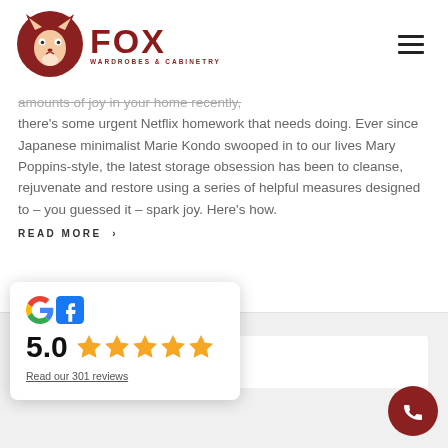[Figure (logo): Fox Wardrobes & Cabinetry logo — brown circle with fox icon, bold FOX text, WARDROBES & CABINETRY subtitle]
amounts of joy in your home recently, there's some urgent Netflix homework that needs doing. Ever since Japanese minimalist Marie Kondo swooped in to our lives Mary Poppins-style, the latest storage obsession has been to cleanse, rejuvenate and restore using a series of helpful measures designed to – you guessed it – spark joy. Here's how.
READ MORE ›
[Figure (other): Review widget showing Google and Facebook logos, 5.0 star rating with 5 gold stars, link reading 'Read our 301 reviews']